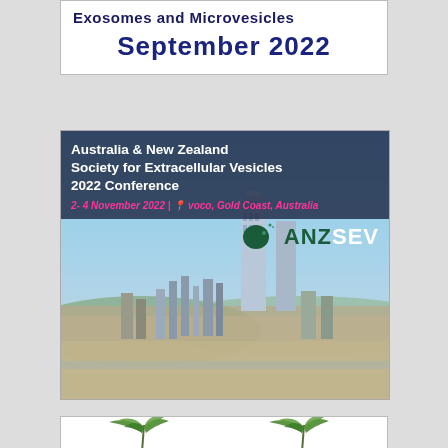Exosomes and Microvesicles
September 2022
[Figure (photo): ANZSEV Conference banner showing Australia & New Zealand Society for Extracellular Vesicles 2022 Conference, 2-4 November 2022, voco Gold Coast Australia, with ANZSEV logo and Gold Coast skyline aerial photo]
[Figure (illustration): Partial view of a conference flyer bottom section with palm tree decorations]